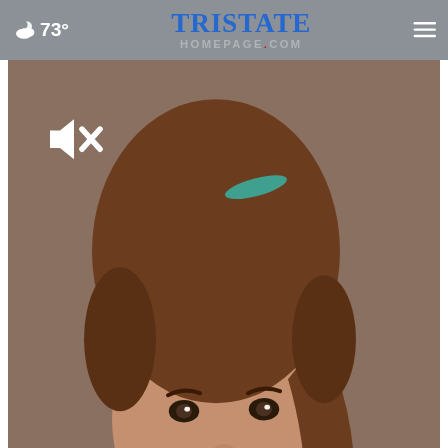73° Tristate Homepage.com
[Figure (photo): Vintage colorized yearbook-style portrait of a young woman with a tall bouffant hairstyle, wearing a green sweater, with a teal hair ribbon]
Look for Any High School Yearbook, It's Free
Classmates
[Figure (photo): Banner advertisement showing two men standing outdoors, with a purple right panel]